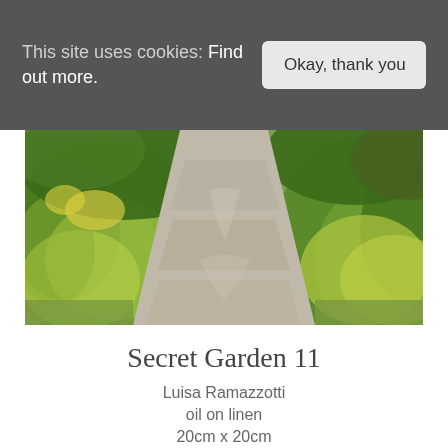This site uses cookies: Find out more.  Okay, thank you
[Figure (photo): Oil painting of a garden path flanked by lush yellow-green foliage and shrubs, painted in thick impasto style]
Secret Garden 11
Luisa Ramazzotti
oil on linen
20cm x 20cm
£420.00